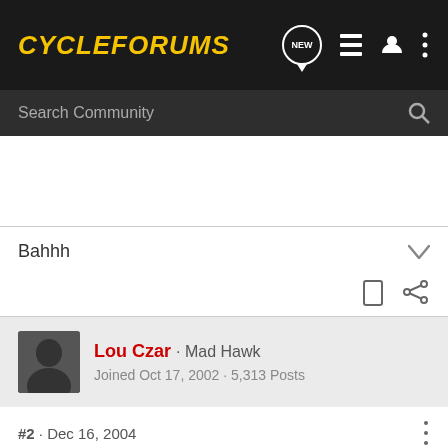CycleForums
Search Community
Bahhh
Lou Czar · Mad Hawk
Joined Oct 17, 2002 · 5,313 Posts
#2 · Dec 16, 2004
step 1. Put left hand in pants
step 2. Do the normal thing!:nanana